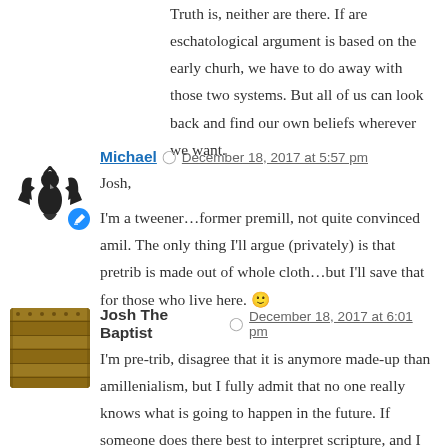Truth is, neither are there. If are eschatological argument is based on the early churh, we have to do away with those two systems. But all of us can look back and find our own beliefs wherever we want.
Michael · December 18, 2017 at 5:57 pm
Josh,

I'm a tweener…former premill, not quite convinced amil. The only thing I'll argue (privately) is that pretrib is made out of whole cloth…but I'll save that for those who live here. 🙂
Josh The Baptist · December 18, 2017 at 6:01 pm
I'm pre-trib, disagree that it is anymore made-up than amillenialism, but I fully admit that no one really knows what is going to happen in the future. If someone does there best to interpret scripture, and I can see the argument, i can respect that even in disagreement.

The only eschatological view that would get much heat from